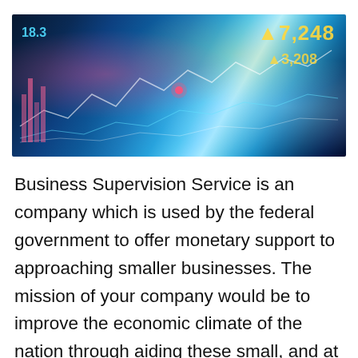[Figure (photo): Financial technology composite image showing hands holding a tablet with stock market charts, data overlays with numbers (7,248 and 3,208), a glowing cityscape, and a laptop keyboard in the background. Blue and cyan tones with chart lines and financial data visualizations.]
Business Supervision Service is an company which is used by the federal government to offer monetary support to approaching smaller businesses. The mission of your company would be to improve the economic climate of the nation through aiding these small, and at times undermined enterprises. This is done by offering start-up loans to fund a… Continue